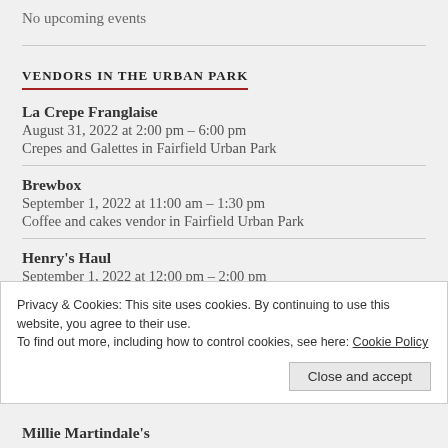No upcoming events
VENDORS IN THE URBAN PARK
La Crepe Franglaise
August 31, 2022 at 2:00 pm – 6:00 pm
Crepes and Galettes in Fairfield Urban Park
Brewbox
September 1, 2022 at 11:00 am – 1:30 pm
Coffee and cakes vendor in Fairfield Urban Park
Henry's Haul
September 1, 2022 at 12:00 pm – 2:00 pm
Fresh fish and seafood vendor in Fairfield Urban Park
Privacy & Cookies: This site uses cookies. By continuing to use this website, you agree to their use.
To find out more, including how to control cookies, see here: Cookie Policy
Millie Martindale's